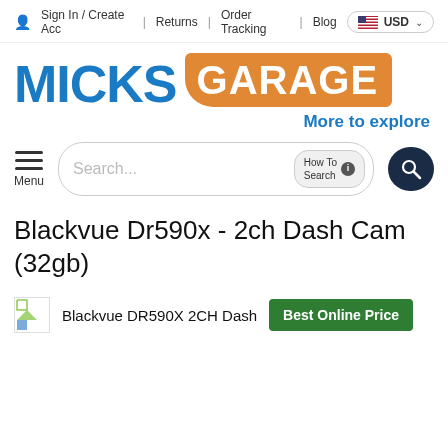Sign In / Create Acc   Returns   Order Tracking   Blog   USD
[Figure (logo): MicksGarage logo: MICKS in bold blue text, GARAGE in white text on orange rounded background, tagline 'More to explore' in blue]
Menu  Search...  How To Search
Blackvue Dr590x - 2ch Dash Cam (32gb)
Blackvue DR590X 2CH Dash  Best Online Price